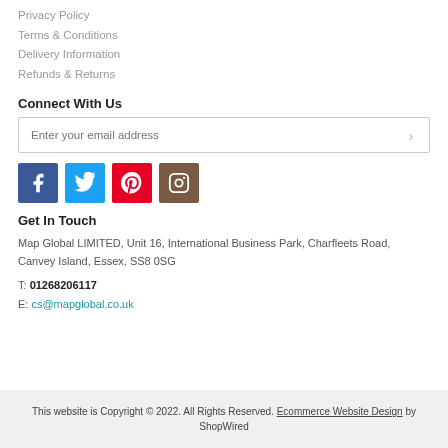Privacy Policy
Terms & Conditions
Delivery Information
Refunds & Returns
Connect With Us
[Figure (other): Email subscription input box with arrow button]
[Figure (other): Social media icons: Facebook (blue), Twitter (light blue), Pinterest (red), Instagram (brown)]
Get In Touch
Map Global LIMITED, Unit 16, International Business Park, Charfleets Road, Canvey Island, Essex, SS8 0SG
T: 01268206117
E: cs@mapglobal.co.uk
This website is Copyright © 2022. All Rights Reserved. Ecommerce Website Design by ShopWired